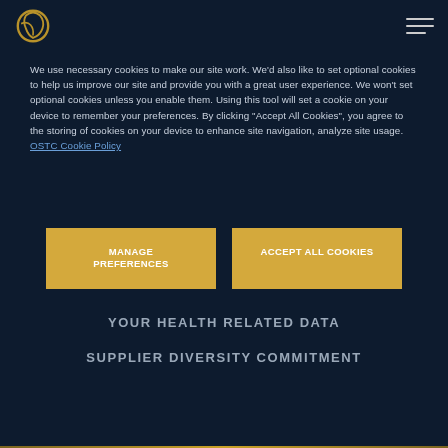OSTC logo and navigation menu
We use necessary cookies to make our site work. We'd also like to set optional cookies to help us improve our site and provide you with a great user experience. We won't set optional cookies unless you enable them. Using this tool will set a cookie on your device to remember your preferences. By clicking “Accept All Cookies”, you agree to the storing of cookies on your device to enhance site navigation, analyze site usage.  OSTC Cookie Policy
Manage Preferences
Accept All Cookies
YOUR HEALTH RELATED DATA
SUPPLIER DIVERSITY COMMITMENT